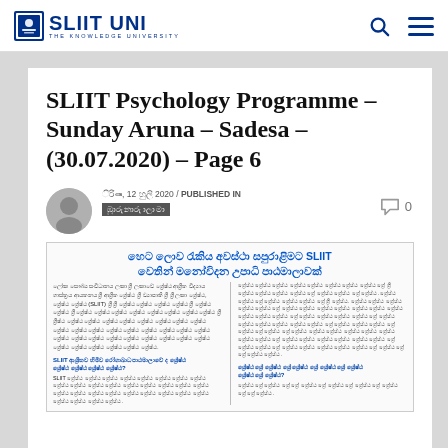SLIIT UNI — The Knowledge University (navigation bar with logo, search and menu icons)
SLIIT Psychology Programme – Sunday Aruna – Sadesa – (30.07.2020) – Page 6
Sinhala date: ඉරිදා, 12 ජූලි 2020 / PUBLISHED IN
[Sinhala category tag]
0 comments
[Figure (screenshot): Newspaper article clipping in Sinhala script with blue headline text and two-column body text layout about SLIIT Psychology programme]
හෙට ලොව රැකිය අවස්ථා සපුරාළිමට SLIIT වෙතින් මනෝවිදන උපාධි පාඨමාලාවක්
Sinhala body text in two columns about SLIIT psychology programme and career opportunities